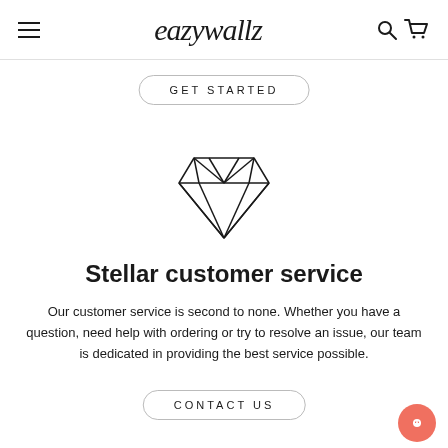eazywallz
GET STARTED
[Figure (illustration): Diamond gem outline icon with facet lines, drawn in black strokes on white background]
Stellar customer service
Our customer service is second to none. Whether you have a question, need help with ordering or try to resolve an issue, our team is dedicated in providing the best service possible.
CONTACT US